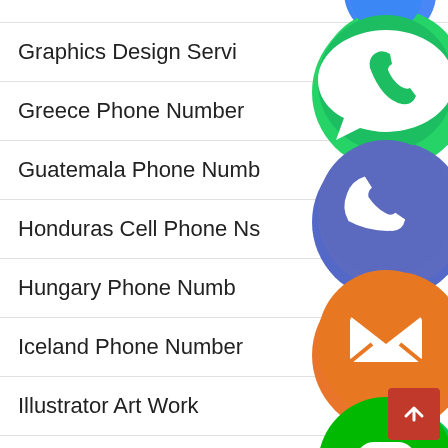Graphics Design Servi[ces]
Greece Phone Number
Guatemala Phone Numb[er]
Honduras Cell Phone [Number]s
Hungary Phone Numb[er]
Iceland Phone Number
Illustrator Art Work
Image Manipulation Se[rvices]
[Figure (illustration): Column of social media / messaging app icons overlapping the list items: WhatsApp (green), phone (blue-purple), email (orange), LINE (green), Viber (purple), close/X (green)]